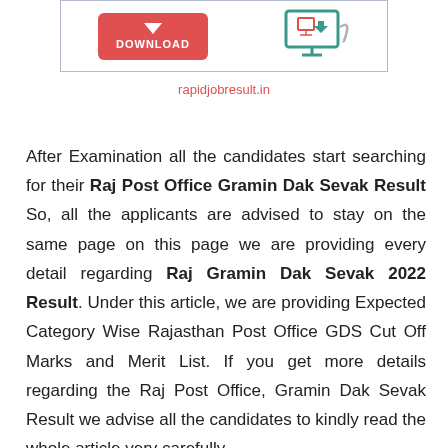[Figure (illustration): A banner image with a red Download button on the left and a monitor/computer icon on the right, inside a light blue bordered box.]
rapidjobresult.in
After Examination all the candidates start searching for their Raj Post Office Gramin Dak Sevak Result So, all the applicants are advised to stay on the same page on this page we are providing every detail regarding Raj Gramin Dak Sevak 2022 Result. Under this article, we are providing Expected Category Wise Rajasthan Post Office GDS Cut Off Marks and Merit List. If you get more details regarding the Raj Post Office, Gramin Dak Sevak Result we advise all the candidates to kindly read the whole article very carefully.